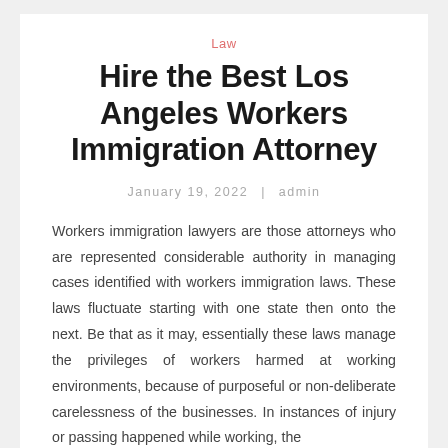Law
Hire the Best Los Angeles Workers Immigration Attorney
January 19, 2022  |  admin
Workers immigration lawyers are those attorneys who are represented considerable authority in managing cases identified with workers immigration laws. These laws fluctuate starting with one state then onto the next. Be that as it may, essentially these laws manage the privileges of workers harmed at working environments, because of purposeful or non-deliberate carelessness of the businesses. In instances of injury or passing happened while working, the